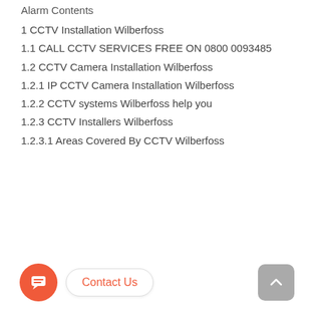Alarm Contents
1 CCTV Installation Wilberfoss
1.1 CALL CCTV SERVICES FREE ON 0800 0093485
1.2 CCTV Camera Installation Wilberfoss
1.2.1 IP CCTV Camera Installation Wilberfoss
1.2.2 CCTV systems Wilberfoss help you
1.2.3 CCTV Installers Wilberfoss
1.2.3.1 Areas Covered By CCTV Wilberfoss